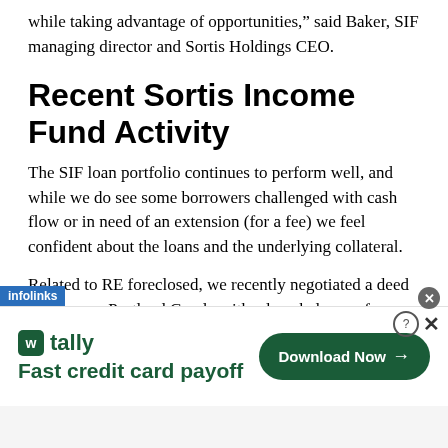while taking advantage of opportunities,” said Baker, SIF managing director and Sortis Holdings CEO.
Recent Sortis Income Fund Activity
The SIF loan portfolio continues to perform well, and while we do see some borrowers challenged with cash flow or in need of an extension (for a fee) we feel confident about the loans and the underlying collateral.
Related to RE foreclosed, we recently negotiated a deed in lieu on a Portland Condo with a loan balance of
[Figure (infographic): Advertisement banner for Tally app - Fast credit card payoff with Download Now button. Infolinks ad label visible at top left of banner.]